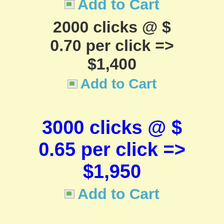Add to Cart
2000 clicks @ $ 0.70 per click => $1,400
Add to Cart
3000 clicks @ $ 0.65 per click => $1,950
Add to Cart